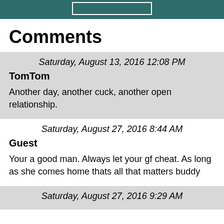Comments
Saturday, August 13, 2016 12:08 PM
TomTom
Another day, another cuck, another open relationship.
Saturday, August 27, 2016 8:44 AM
Guest
Your a good man. Always let your gf cheat. As long as she comes home thats all that matters buddy
Saturday, August 27, 2016 9:29 AM